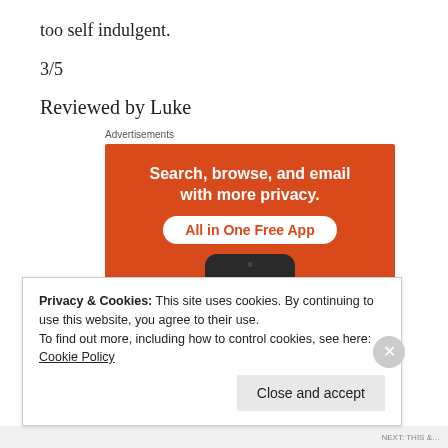too self indulgent.
3/5
Reviewed by Luke
Advertisements
[Figure (screenshot): Advertisement banner: orange background with white bold text 'Search, browse, and email with more privacy.' and a white pill-shaped button with orange text 'All in One Free App', with a phone graphic at the bottom.]
Privacy & Cookies: This site uses cookies. By continuing to use this website, you agree to their use.
To find out more, including how to control cookies, see here: Cookie Policy
Close and accept